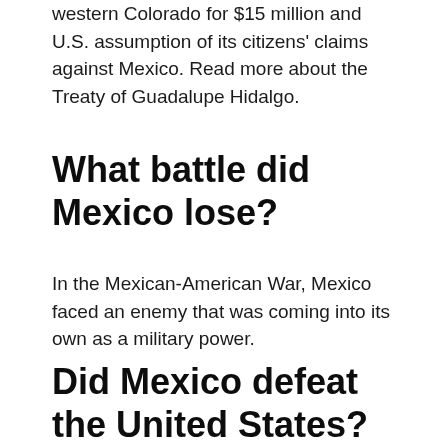western Colorado for $15 million and U.S. assumption of its citizens' claims against Mexico. Read more about the Treaty of Guadalupe Hidalgo.
What battle did Mexico lose?
In the Mexican-American War, Mexico faced an enemy that was coming into its own as a military power.
Did Mexico defeat the United States?
It ended the war, and Mexico recognized the Mexican Cession, areas not part of disputed